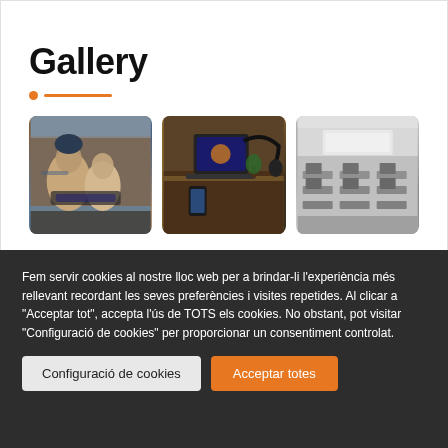Gallery
[Figure (photo): Gallery section with three photos: two women looking at a laptop, a laptop on a desk with headphones, and a grayscale photo of a classroom with computers]
Fem servir cookies al nostre lloc web per a brindar-li l'experiència més rellevant recordant les seves preferències i visites repetides. Al clicar a "Acceptar tot", accepta l'ús de TOTS els cookies. No obstant, pot visitar "Configuració de cookies" per proporcionar un consentiment controlat.
Configuració de cookies
Acceptar totes